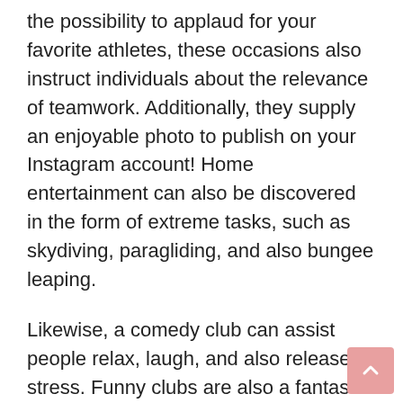the possibility to applaud for your favorite athletes, these occasions also instruct individuals about the relevance of teamwork. Additionally, they supply an enjoyable photo to publish on your Instagram account! Home entertainment can also be discovered in the form of extreme tasks, such as skydiving, paragliding, and also bungee leaping.
Likewise, a comedy club can assist people relax, laugh, and also release stress. Funny clubs are also a fantastic method to hang around with your family and friends. An additional prominent entertainment choice is the circus. A circus is an enjoyable method to raise any individual's spirit. You'll feel enlightened after seeing a circus program. The